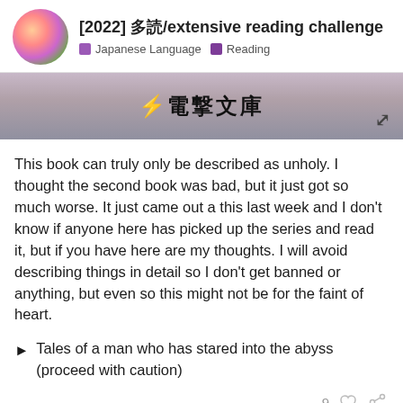[2022] 多読/extensive reading challenge — Japanese Language · Reading
[Figure (photo): Partial book cover image showing anime-style art with Japanese text '電撃文庫' and a lightning bolt icon. Expand arrow icon visible in lower right.]
This book can truly only be described as unholy. I thought the second book was bad, but it just got so much worse. It just came out a this last week and I don't know if anyone here has picked up the series and read it, but if you have here are my thoughts. I will avoid describing things in detail so I don't get banned or anything, but even so this might not be for the faint of heart.
► Tales of a man who has stared into the abyss (proceed with caution)
9 ♡ 🔗
eefara
Back
4717 / 4932